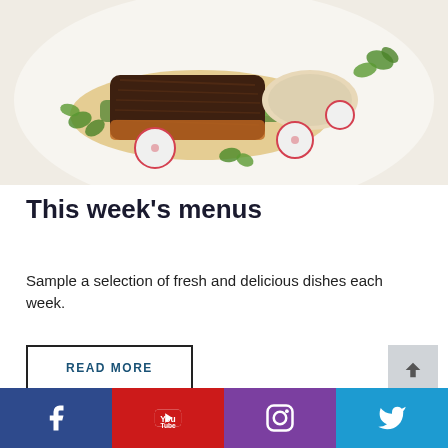[Figure (photo): A plated fish dish on a white plate with greens, radish slices, and sauce garnishes viewed from above]
This week's menus
Sample a selection of fresh and delicious dishes each week.
READ MORE
[Figure (infographic): Social media bar with Facebook, YouTube, Instagram, and Twitter icons]